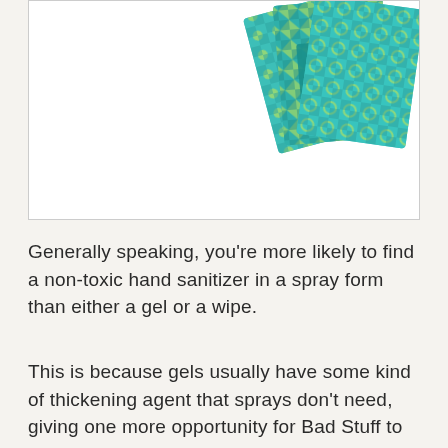[Figure (photo): Product photo of 'Wipeys Handy' hand wipe packets with teal/turquoise geometric patterned packaging, partially visible at the top of a white box frame]
Generally speaking, you're more likely to find a non-toxic hand sanitizer in a spray form than either a gel or a wipe.
This is because gels usually have some kind of thickening agent that sprays don't need, giving one more opportunity for Bad Stuff to get into the formula.